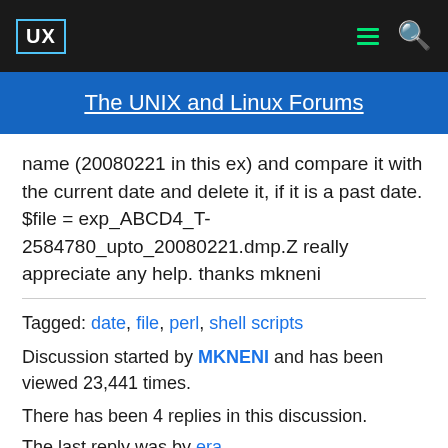UX | The UNIX and Linux Forums
name (20080221 in this ex) and compare it with the current date and delete it, if it is a past date. $file = exp_ABCD4_T-2584780_upto_20080221.dmp.Z really appreciate any help. thanks mkneni
Tagged: date, file, perl, shell scripts
Discussion started by MKNENI and has been viewed 23,441 times.
There has been 4 replies in this discussion.
The last reply was by era.